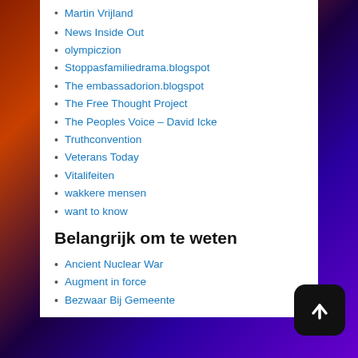Martin Vrijland
News Inside Out
olympiczion
Stoppasfamiliedrama.blogspot
The embassadorion.blogspot
The Free Thought Project
The Peoples Voice – David Icke
Truthconvention
Veterans Today
Vitalifeiten
wakkere mensen
want to know
Wij Willen Het Weten
Xandernieuws
Belangrijk om te weten
Ancient Nuclear War
Augment in force
Bezwaar Bij Gemeente